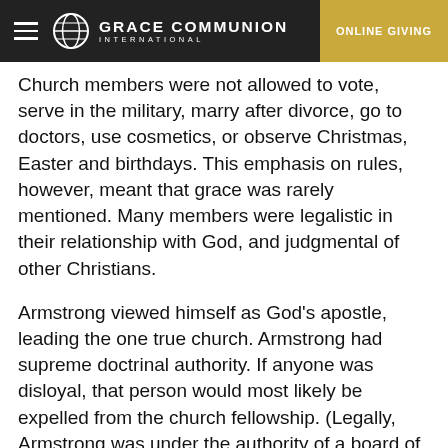GRACE COMMUNION INTERNATIONAL | ONLINE GIVING
Church members were not allowed to vote, serve in the military, marry after divorce, go to doctors, use cosmetics, or observe Christmas, Easter and birthdays. This emphasis on rules, however, meant that grace was rarely mentioned. Many members were legalistic in their relationship with God, and judgmental of other Christians.
Armstrong viewed himself as God's apostle, leading the one true church. Armstrong had supreme doctrinal authority. If anyone was disloyal, that person would most likely be expelled from the church fellowship. (Legally, Armstrong was under the authority of a board of directors, but they always supported his decisions.)